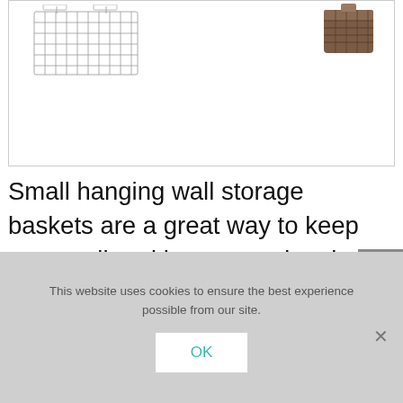[Figure (illustration): Two hanging wall storage baskets shown: a wire mesh basket sketch on the left and a brown woven basket photo on the right, inside a bordered image box.]
Small hanging wall storage baskets are a great way to keep your mail and keys sorted, to keep cleaners all together and easily accessible, or organize other miscellaneous items.
[Figure (other): Gray scroll-to-top button with upward chevron arrow on the right edge of the page.]
This website uses cookies to ensure the best experience possible from our site.
OK